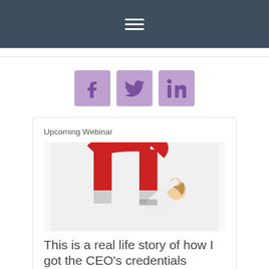Navigation menu (hamburger icon)
[Figure (illustration): Three social media icons: Facebook, Twitter, LinkedIn, rendered as purple square buttons]
Upcoming Webinar
[Figure (photo): A person bending forward under a large red and white horseshoe magnet, symbolizing attraction or pressure]
This is a real life story of how I got the CEO's credentials